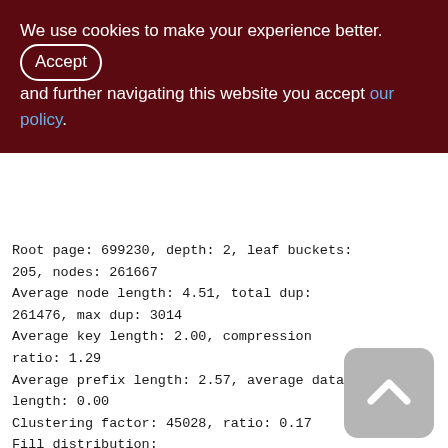We use cookies to make your experience better. By accepting and further navigating this website you accept our policy.
Root page: 699230, depth: 2, leaf buckets: 205, nodes: 261667
Average node length: 4.51, total dup: 261476, max dup: 3014
Average key length: 2.00, compression ratio: 1.29
Average prefix length: 2.57, average data length: 0.00
Clustering factor: 45028, ratio: 0.17
Fill distribution:
0 - 19% = 0
20 - 39% = 0
40 - 59% = 54
[Figure (other): Back to top button - upward chevron arrow icon on grey rounded square background]